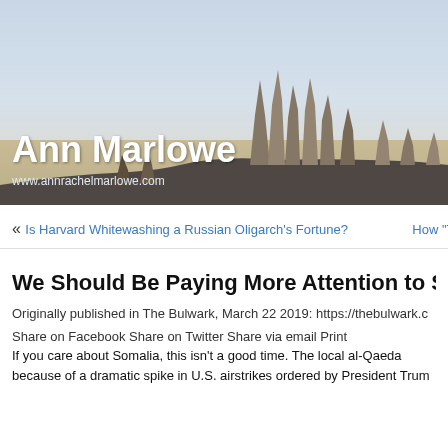[Figure (photo): Desert landscape with dramatic rock formations against a hazy sky, serving as the header background image for Ann Marlowe's blog.]
Ann Marlowe
www.annrachelmarlowe.com
« Is Harvard Whitewashing a Russian Oligarch's Fortune?    How "The G
We Should Be Paying More Attention to Som
Originally published in The Bulwark, March 22 2019: https://thebulwark.c
Share on Facebook Share on Twitter Share via email Print
If you care about Somalia, this isn't a good time. The local al-Qaeda because of a dramatic spike in U.S. airstrikes ordered by President Trum